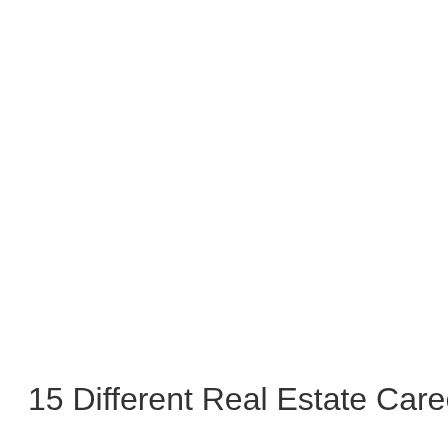15 Different Real Estate Careers: